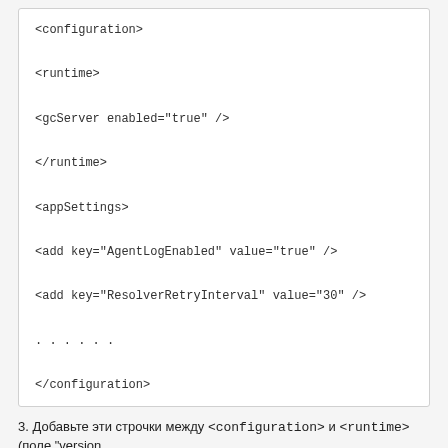[Figure (screenshot): Code block showing XML configuration with <configuration>, <runtime>, <gcServer enabled="true" />, </runtime>, <appSettings>, <add key="AgentLogEnabled" value="true" />, <add key="ResolverRetryInterval" value="30" />, . . . . . ., </configuration>]
3. Добавьте эти строчки между <configuration> и <runtime> (поле "version
[Figure (screenshot): Code block showing XML configuration with <configSections>, <section name="CTS" type="Microsoft.Exchange.Data., </configSections>, <CTS>, <MimeLimits>]